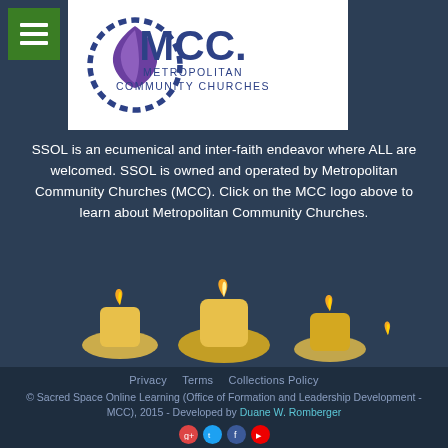[Figure (logo): Green hamburger menu button top left]
[Figure (logo): MCC Metropolitan Community Churches logo in white box]
SSOL is an ecumenical and inter-faith endeavor where ALL are welcomed. SSOL is owned and operated by Metropolitan Community Churches (MCC). Click on the MCC logo above to learn about Metropolitan Community Churches.
[Figure (photo): Three lit candles on dark background]
Privacy   Terms   Collections Policy
© Sacred Space Online Learning (Office of Formation and Leadership Development - MCC), 2015 - Developed by Duane W. Romberger [social icons: Google+, Twitter, Facebook, YouTube]